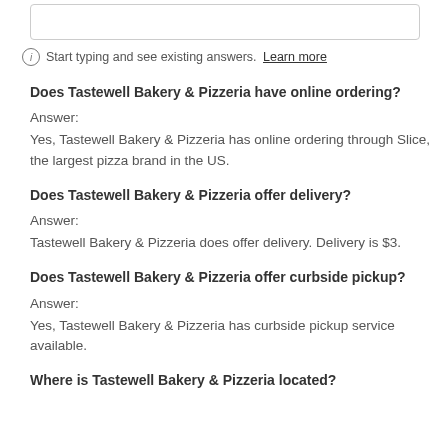Start typing and see existing answers. Learn more
Does Tastewell Bakery & Pizzeria have online ordering?
Answer:
Yes, Tastewell Bakery & Pizzeria has online ordering through Slice, the largest pizza brand in the US.
Does Tastewell Bakery & Pizzeria offer delivery?
Answer:
Tastewell Bakery & Pizzeria does offer delivery. Delivery is $3.
Does Tastewell Bakery & Pizzeria offer curbside pickup?
Answer:
Yes, Tastewell Bakery & Pizzeria has curbside pickup service available.
Where is Tastewell Bakery & Pizzeria located?